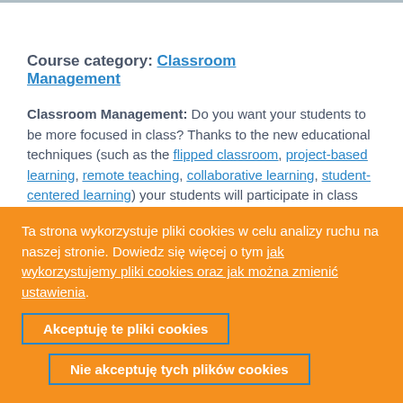Course category: Classroom Management
Classroom Management: Do you want your students to be more focused in class? Thanks to the new educational techniques (such as the flipped classroom, project-based learning, remote teaching, collaborative learning, student-centered learning) your students will participate in class with more enthusiasm creating a fruitful and healthier learning environment. I...
Ta strona wykorzystuje pliki cookies w celu analizy ruchu na naszej stronie. Dowiedz się więcej o tym jak wykorzystujemy pliki cookies oraz jak można zmienić ustawienia.
Akceptuję te pliki cookies
Nie akceptuję tych plików cookies